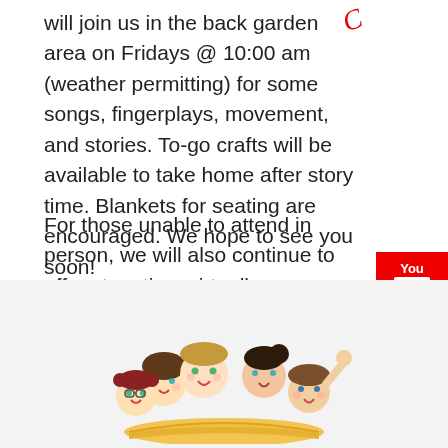will join us in the back garden area on Fridays @ 10:00 am (weather permitting) for some songs, fingerplays, movement, and stories. To-go crafts will be available to take home after story time. Blankets for seating are encouraged. We hope to see you soon!
For those unable to attend in person, we will also continue to offer story time virtually every Friday at 10:00 am on Facebook and Youtube. You can always view on local access channel 1301 too. As always, feel free to post your photos of crafts made on our Facebook page!
[Figure (illustration): Cartoon illustration of a group of children reading a book together, shown from the waist up with happy expressions]